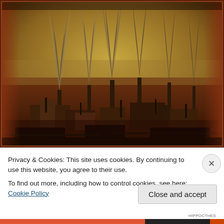[Figure (photo): Aerial photograph of an industrial facility with multiple tall smokestacks emitting dark smoke into a hazy, yellowish-brown sky. The scene appears dystopian with a vintage/sepia-toned filter applied. Industrial buildings, pipes, and structures are visible below the chimneys.]
Privacy & Cookies: This site uses cookies. By continuing to use this website, you agree to their use.
To find out more, including how to control cookies, see here: Cookie Policy